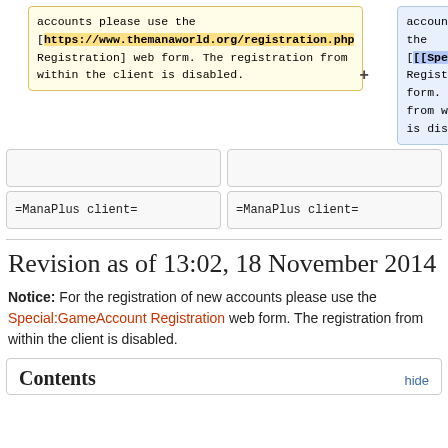accounts please use the [https://www.themanaworld.org/registration.php Registration] web form. The registration from within the client is disabled.
accounts please use the [[Special:GameAccount Registration]] web form. The registration from within the client is disabled.
=ManaPlus client=
=ManaPlus client=
Revision as of 13:02, 18 November 2014
Notice: For the registration of new accounts please use the Special:GameAccount Registration web form. The registration from within the client is disabled.
Contents
hide